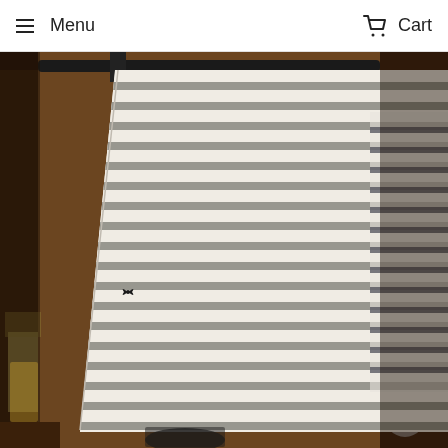Menu  Cart
[Figure (photo): A striped black and white/cream long-sleeve top or cardigan hanging on display, with horizontal grey/taupe and white stripes. The garment is displayed against a wooden shelving background with various objects visible including glassware and a mirror. A similar striped item is partially visible on the right side.]